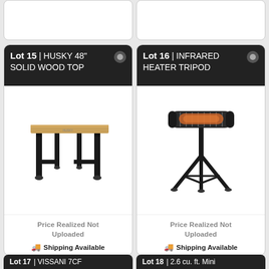[Figure (photo): Partial top of lot card (lot above 15), image cut off]
[Figure (photo): Partial top of lot card (lot above 16), image cut off]
Lot 15 | HUSKY 48" SOLID WOOD TOP
[Figure (photo): Husky 48-inch solid wood top workbench with black metal frame and four legs]
Price Realized Not Uploaded
🚚 Shipping Available
Lot 16 | INFRARED HEATER TRIPOD
[Figure (photo): Infrared heater mounted on a black tripod stand with glowing orange heating element]
Price Realized Not Uploaded
🚚 Shipping Available
Lot 17 | VISSANI 7CF
Lot 18 | 2.6 cu. ft. Mini